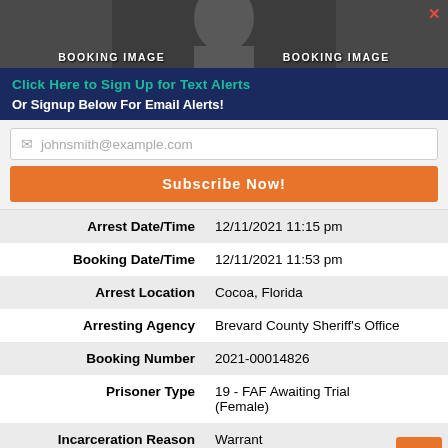[Figure (photo): Two booking image placeholders side by side with dark background, labeled 'BOOKING IMAGE']
Click Here to Sign Up for Text Alerts
Or Signup Below For Email Alerts!
johnsmith@example.com (email input placeholder)
Subscribe Now!
| Field | Value |
| --- | --- |
| Arrest Date/Time | 12/11/2021 11:15 pm |
| Booking Date/Time | 12/11/2021 11:53 pm |
| Arrest Location | Cocoa, Florida |
| Arresting Agency | Brevard County Sheriff's Office |
| Booking Number | 2021-00014826 |
| Prisoner Type | 19 - FAF Awaiting Trial (Female) |
| Incarceration Reason | Warrant |
| Total Bond Amount | $300 |